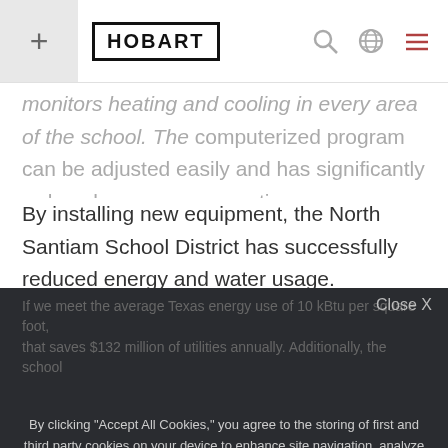HOBART
monitors heating and cooling in every area of the school. The computerized program can be adjusted easily and has significantly reduced energy consumption.
By installing new equipment, the North Santiam School District has successfully reduced energy and water usage.
Cookie consent overlay with close button
By clicking "Accept All Cookies," you agree to the storing of first and third party cookies on your device to enhance site navigation, analyze site usage, and assist in our marketing efforts. You can also click "Cookie Settings" to learn about the cookies we use and allow for only specific types of cookies. Click here to learn more about our Cookie Policy
Cookie Settings
ACCEPT ALL COOKIES